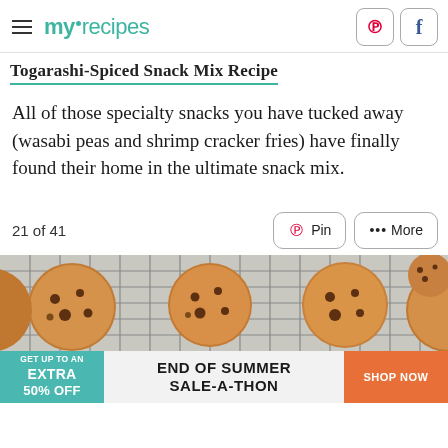myrecipes
Togarashi-Spiced Snack Mix Recipe
All of those specialty snacks you have tucked away (wasabi peas and shrimp cracker fries) have finally found their home in the ultimate snack mix.
21 of 41
[Figure (photo): Cookies cooling on a wire rack, multiple chocolate chip cookies viewed from above]
[Figure (infographic): Advertisement banner: GET UP TO AN EXTRA 50% OFF | END OF SUMMER SALE-A-THON | SHOP NOW]